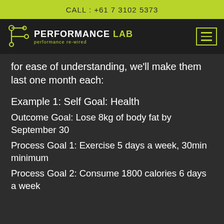CALL : +61 7 3102 5373
[Figure (logo): Performance Lab logo with yellow-green circuit-style icon and text 'PERFORMANCE LAB performance re-wired']
for ease of understanding, we'll make them last one month each:
Example 1: Self Goal: Health
Outcome Goal: Lose 8kg of body fat by September 30
Process Goal 1: Exercise 5 days a week, 30min minimum
Process Goal 2: Consume 1800 calories 6 days a week